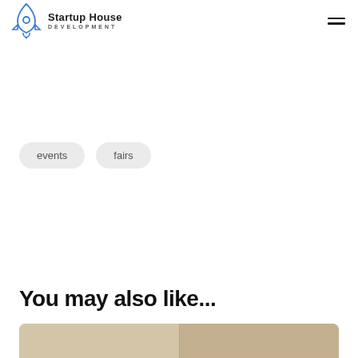Startup House DEVELOPMENT
events
fairs
You may also like...
[Figure (photo): Preview thumbnail image of a related article, showing what appears to be an interior with books or notebooks, partially visible at bottom of page]